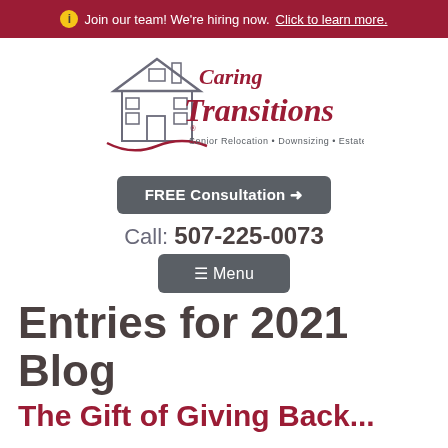ℹ Join our team! We're hiring now. Click to learn more.
[Figure (logo): Caring Transitions logo with house illustration. Text: Caring Transitions. Senior Relocation • Downsizing • Estate Sales]
FREE Consultation →
Call: 507-225-0073
≡ Menu
Entries for 2021
Blog
The Gift of Giving Back...